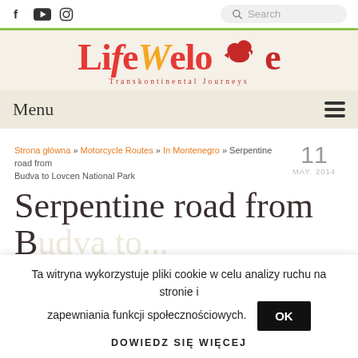LifeWeLove - Transkontimential Journeys
[Figure (logo): LifeWeLove logo with stylized text and bird/heart graphic, subtitle: Transkontimential Journeys]
Menu
Strona główna » Motorcycle Routes » In Montenegro » Serpentine road from Budva to Lovcen National Park
11 MAY. 2014
Serpentine road from Budva to...
Ta witryna wykorzystuje pliki cookie w celu analizy ruchu na stronie i zapewniania funkcji społecznościowych.
OK
DOWIEDZ SIĘ WIĘCEJ